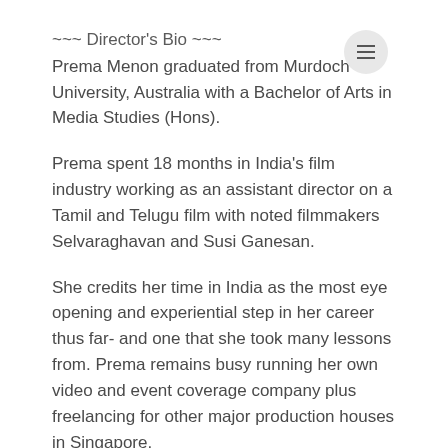~~~ Director's Bio ~~~
Prema Menon graduated from Murdoch University, Australia with a Bachelor of Arts in Media Studies (Hons).
Prema spent 18 months in India's film industry working as an assistant director on a Tamil and Telugu film with noted filmmakers Selvaraghavan and Susi Ganesan.
She credits her time in India as the most eye opening and experiential step in her career thus far- and one that she took many lessons from. Prema remains busy running her own video and event coverage company plus freelancing for other major production houses in Singapore.